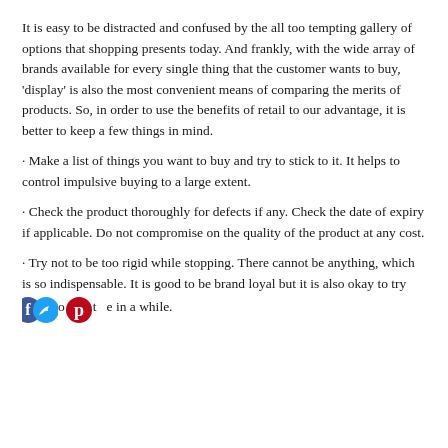It is easy to be distracted and confused by the all too tempting gallery of options that shopping presents today. And frankly, with the wide array of brands available for every single thing that the customer wants to buy, 'display' is also the most convenient means of comparing the merits of products. So, in order to use the benefits of retail to our advantage, it is better to keep a few things in mind.
· Make a list of things you want to buy and try to stick to it. It helps to control impulsive buying to a large extent.
· Check the product thoroughly for defects if any. Check the date of expiry if applicable. Do not compromise on the quality of the product at any cost.
· Try not to be too rigid while stopping. There cannot be anything, which is so indispensable. It is good to be brand loyal but it is also okay to try something different once in a while.